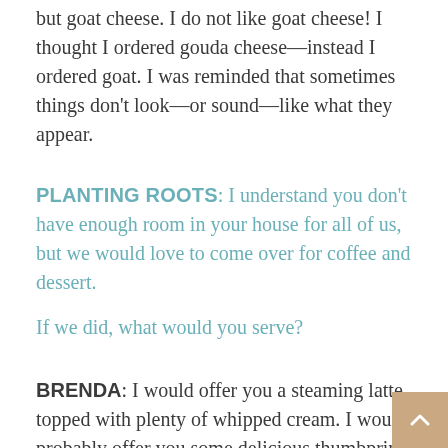but goat cheese. I do not like goat cheese! I thought I ordered gouda cheese—instead I ordered goat. I was reminded that sometimes things don't look—or sound—like what they appear.
PLANTING ROOTS: I understand you don't have enough room in your house for all of us, but we would love to come over for coffee and dessert.
If we did, what would you serve?
BRENDA: I would offer you a steaming latte topped with plenty of whipped cream. I would probably offer you some delicious thumbprint cookies that I purchased at a local bakery. They are better than anything I could bake.